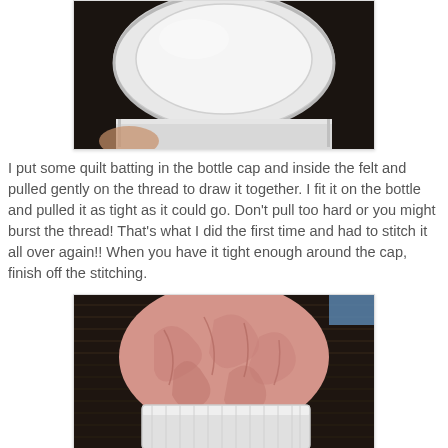[Figure (photo): Close-up photo of a white bottle cap viewed from above, showing the ridged edges and interior, held partially by a hand visible at the bottom left.]
I put some quilt batting in the bottle cap and inside the felt and pulled gently on the thread to draw it together. I fit it on the bottle and pulled it as tight as it could go. Don't pull too hard or you might burst the thread! That's what I did the first time and had to stitch it all over again!! When you have it tight enough around the cap, finish off the stitching.
[Figure (photo): Photo of a pink felt fabric gathered and stretched tightly over a white bottle cap, sitting on a dark ribbed surface. The felt is wrinkled and puckered from the gathering stitching.]